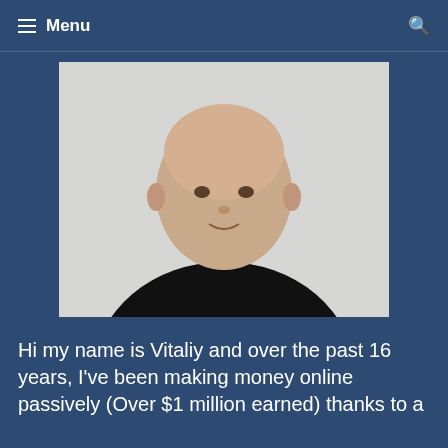Menu
[Figure (photo): Portrait photo of a bald man in a black t-shirt with arms crossed, light background]
Hi my name is Vitaliy and over the past 16 years, I've been making money online passively (Over $1 million earned) thanks to a